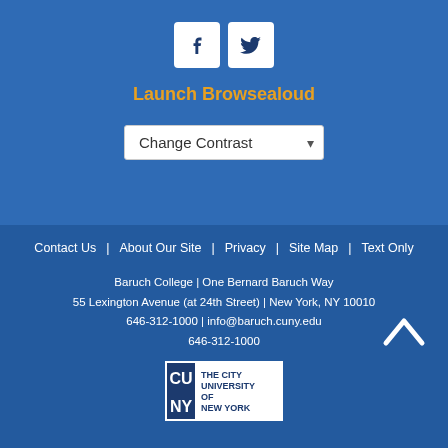[Figure (logo): Facebook and Twitter social media icons (white square buttons on blue background)]
Launch Browsealoud
[Figure (other): Change Contrast dropdown selector]
Contact Us | About Our Site | Privacy | Site Map | Text Only
Baruch College | One Bernard Baruch Way
55 Lexington Avenue (at 24th Street) | New York, NY 10010
646-312-1000 | info@baruch.cuny.edu
646-312-1000
[Figure (logo): CUNY - The City University of New York logo]